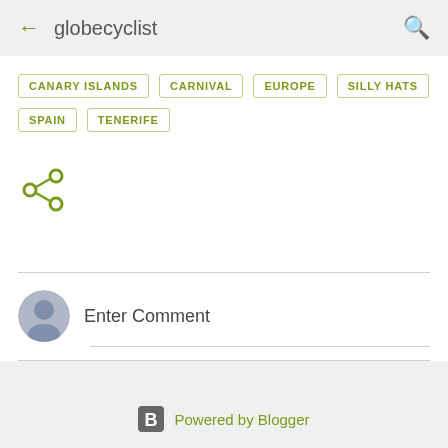← globecyclist
CANARY ISLANDS
CARNIVAL
EUROPE
SILLY HATS
SPAIN
TENERIFE
[Figure (other): Share icon (connected nodes)]
Enter Comment
Powered by Blogger